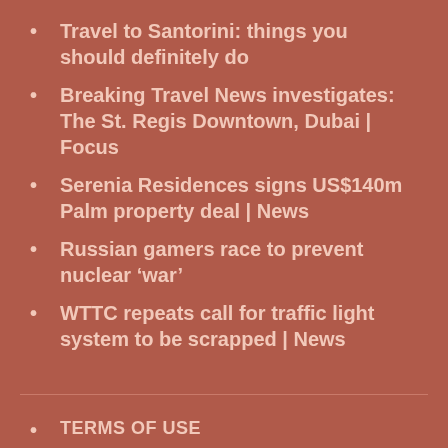Travel to Santorini: things you should definitely do
Breaking Travel News investigates: The St. Regis Downtown, Dubai | Focus
Serenia Residences signs US$140m Palm property deal | News
Russian gamers race to prevent nuclear ‘war’
WTTC repeats call for traffic light system to be scrapped | News
TERMS OF USE
USEFUL LINKS
SITEMAP
CONTACT